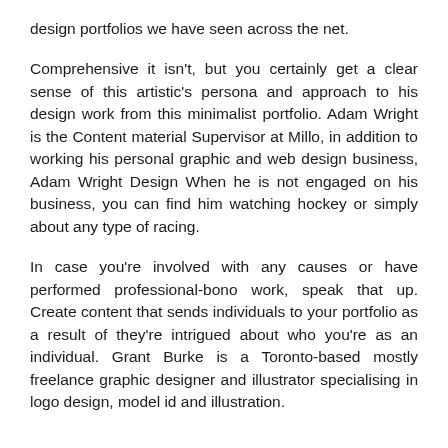design portfolios we have seen across the net.
Comprehensive it isn't, but you certainly get a clear sense of this artistic's persona and approach to his design work from this minimalist portfolio. Adam Wright is the Content material Supervisor at Millo, in addition to working his personal graphic and web design business, Adam Wright Design When he is not engaged on his business, you can find him watching hockey or simply about any type of racing.
In case you're involved with any causes or have performed professional-bono work, speak that up. Create content that sends individuals to your portfolio as a result of they're intrigued about who you're as an individual. Grant Burke is a Toronto-based mostly freelance graphic designer and illustrator specialising in logo design, model id and illustration.